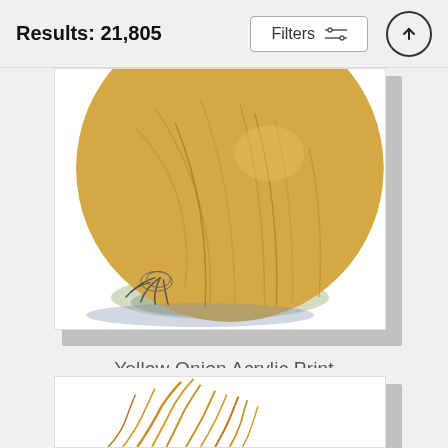Results: 21,805
Filters
[Figure (illustration): Watercolor/pencil illustration of a yellow onion on white background, shown as a framed acrylic print with shadow]
Yellow Onion Acrylic Print
Irina Sztukowski
$96 (strikethrough original price)
$77
[Figure (illustration): Partial view of a second framed print showing a golden/wheat colored illustration, partially visible at bottom of page]